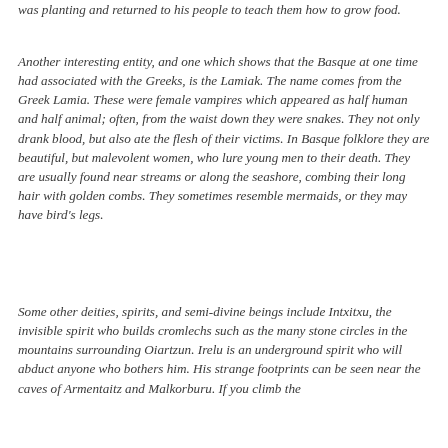was planting and returned to his people to teach them how to grow food.
Another interesting entity, and one which shows that the Basque at one time had associated with the Greeks, is the Lamiak. The name comes from the Greek Lamia. These were female vampires which appeared as half human and half animal; often, from the waist down they were snakes. They not only drank blood, but also ate the flesh of their victims. In Basque folklore they are beautiful, but malevolent women, who lure young men to their death. They are usually found near streams or along the seashore, combing their long hair with golden combs. They sometimes resemble mermaids, or they may have bird's legs.
Some other deities, spirits, and semi-divine beings include Intxitxu, the invisible spirit who builds cromlechs such as the many stone circles in the mountains surrounding Oiartzun. Irelu is an underground spirit who will abduct anyone who bothers him. His strange footprints can be seen near the caves of Armentaitz and Malkorburu. If you climb the